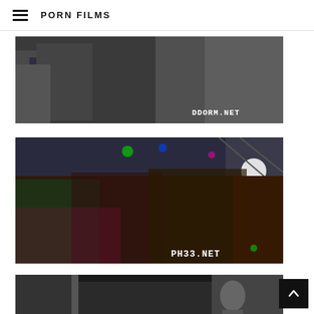PORN FILMS
[Figure (photo): Video thumbnail showing people in a room, with watermark DDORM.NET in lower right]
[Figure (photo): Video thumbnail showing people dancing at a party under colored lights, with watermark PH33.NET in lower right]
[Figure (photo): Video thumbnail showing partial view of a scene, partially visible]
Back to top button (arrow up)